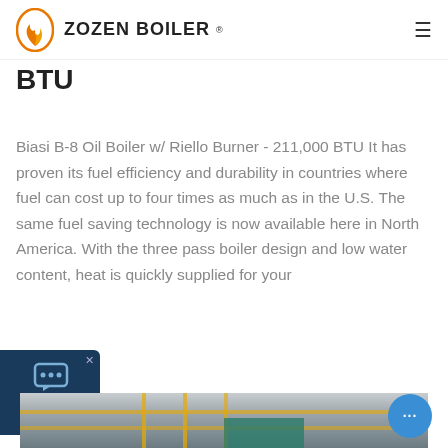ZOZEN BOILER
BTU
Biasi B-8 Oil Boiler w/ Riello Burner - 211,000 BTU It has proven its fuel efficiency and durability in countries where fuel can cost up to four times as much as in the U.S. The same fuel saving technology is now available here in North America. With the three pass boiler design and low water content, heat is quickly supplied for your
Get a Quote
[Figure (photo): Industrial boiler equipment with yellow scaffolding/piping and machinery visible in an industrial facility]